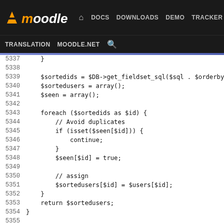moodle | DOCS DOWNLOADS DEMO TRACKER DEV | TRANSLATION MOODLE.NET [search]
Code viewer showing lines 5337–5362 of a PHP source file. Code includes a foreach loop over $sortedids, checks for duplicates using isset($seen[$id]), assigns $sortedusers[$id] = $users[$id], returns $sortedusers. A PHPDoc block begins at line 5356 with /** Gets all the users assigned this role in this context, @global object, @param int $roleid (can also be an array of ints!), @param object $context, @param bool $parent if true, get list of users assi...